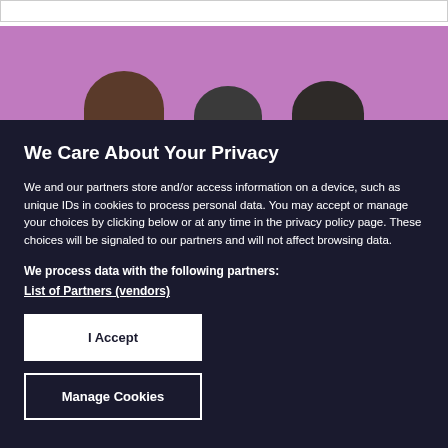[Figure (photo): Photo strip showing three people's heads peeking up against a purple/mauve background]
We Care About Your Privacy
We and our partners store and/or access information on a device, such as unique IDs in cookies to process personal data. You may accept or manage your choices by clicking below or at any time in the privacy policy page. These choices will be signaled to our partners and will not affect browsing data.
We process data with the following partners:
List of Partners (vendors)
I Accept
Manage Cookies